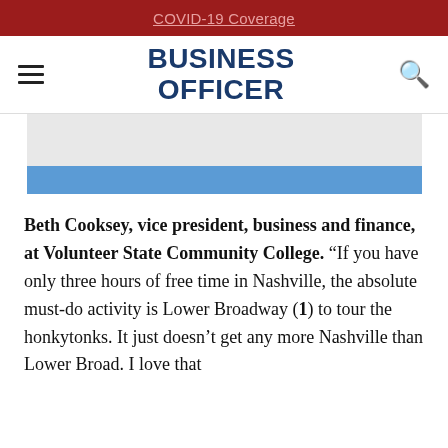COVID-19 Coverage
BUSINESS OFFICER
[Figure (illustration): Partial image showing a gray rectangle and a blue band below it, representing a partially visible article header image.]
Beth Cooksey, vice president, business and finance, at Volunteer State Community College. “If you have only three hours of free time in Nashville, the absolute must-do activity is Lower Broadway (1) to tour the honkytonks. It just doesn’t get any more Nashville than Lower Broad. I love that